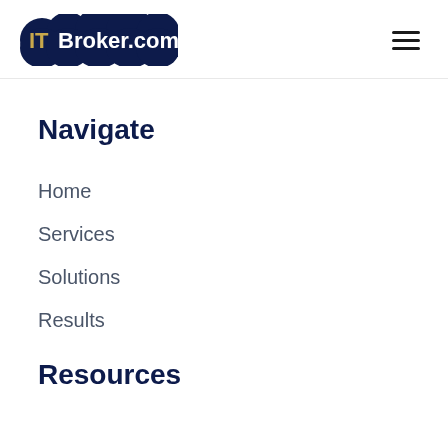ITBroker.com
Navigate
Home
Services
Solutions
Results
Resources